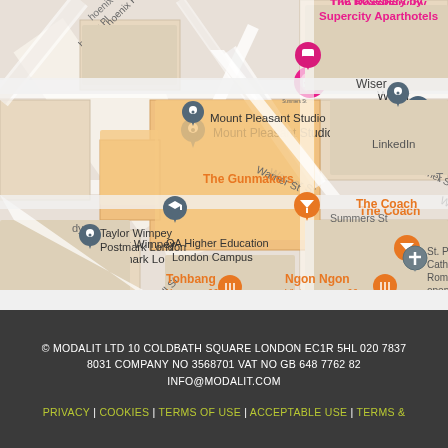[Figure (map): Google Maps screenshot showing area around Coldbath Square, London EC1R. Visible landmarks include The Rosebery by Supercity Aparthotels (pink marker), Mount Pleasant Studio (dark marker), Wiser (dark marker), LinkedIn (text), The Coach (orange text with orange marker), Taylor Wimpey Postmark London (dark marker), The Gunmakers (orange text with orange marker), QA Higher Education London Campus (dark marker with graduation cap), Tohbang Korean ££ (orange marker), Ngon Ngon Vietnamese ££ (orange marker), St. Peter's Catholic Roman (dark cross marker), Warner St, Laystall St, Summers St, Phoenix Pl street labels.]
© MODALIT LTD 10 COLDBATH SQUARE LONDON EC1R 5HL 020 7837 8031 COMPANY NO 3568701 VAT NO GB 648 7762 82 INFO@MODALIT.COM PRIVACY | COOKIES | TERMS OF USE | ACCEPTABLE USE | TERMS &